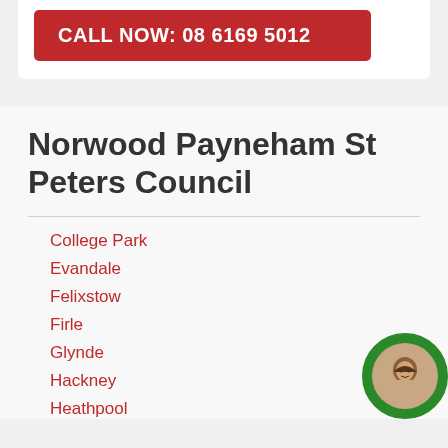CALL NOW: 08 6169 5012
Norwood Payneham St Peters Council
College Park
Evandale
Felixstow
Firle
Glynde
Hackney
Heathpool
[Figure (photo): Circular avatar photo of a smiling woman with dark hair, positioned in bottom-right corner with green circular border]